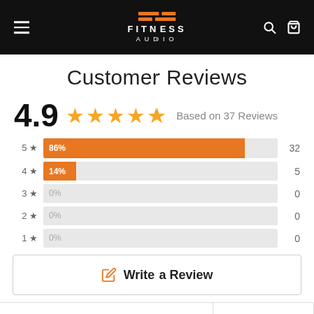[Figure (logo): Fitness Audio logo with orange horizontal bars above white text 'FITNESS AUDIO' on black background]
Customer Reviews
4.9 ★★★★★ Based on 37 Reviews
[Figure (bar-chart): Star rating distribution]
Write a Review
Sort